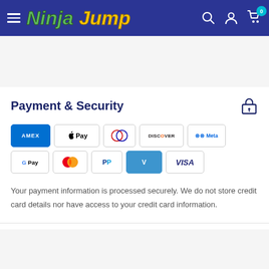NinjaJump — navigation bar with hamburger menu, logo, search, account, and cart (0 items)
Payment & Security
[Figure (logo): Payment method logos: Amex, Apple Pay, Diners Club, Discover, Meta Pay, Google Pay, Mastercard, PayPal, Venmo, Visa]
Your payment information is processed securely. We do not store credit card details nor have access to your credit card information.